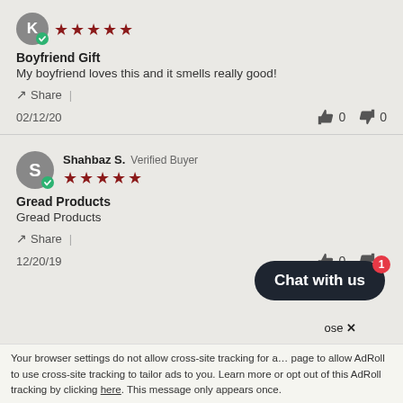[Figure (other): User avatar circle with letter K and green checkmark, with 5 red stars rating]
Boyfriend Gift
My boyfriend loves this and it smells really good!
Share |
02/12/20   👍 0   👎 0
[Figure (other): User avatar circle with letter S and green checkmark, reviewer name Shahbaz S. Verified Buyer, with 5 red stars rating]
Gread Products
Gread Products
Share |
12/20/19   👍 0   👎 0
[Figure (other): Chat with us button widget with badge showing 1]
ose ✕
Your browser settings do not allow cross-site tracking for a... page to allow AdRoll to use cross-site tracking to tailor ads to you. Learn more or opt out of this AdRoll tracking by clicking here. This message only appears once.